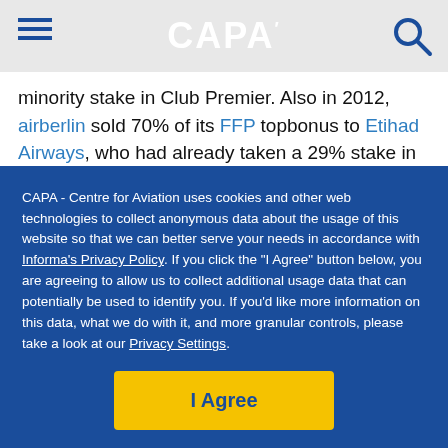CAPA
minority stake in Club Premier. Also in 2012, airberlin sold 70% of its FFP topbonus to Etihad Airways, who had already taken a 29% stake in airberlin itself.

On top of EUR73 million invested by Etihad directly in airberlin, the Gulf carrier also provided EUR184 million for the topbonus stake. Etihad is prevented by EU restrictions on ownership and control from owning more than 49% of airberlin, but there are no such restrictions on FFP
CAPA - Centre for Aviation uses cookies and other web technologies to collect anonymous data about the usage of this website so that we can better serve your needs in accordance with Informa's Privacy Policy. If you click the "I Agree" button below, you are agreeing to allow us to collect additional usage data that can potentially be used to identify you. If you'd like more information on this data, what we do with it, and more granular controls, please take a look at our Privacy Settings.